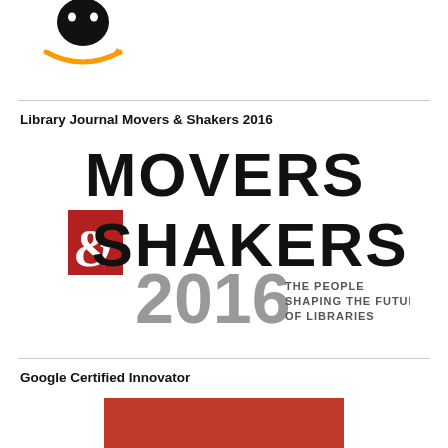[Figure (logo): Amazon logo — black face silhouette with orange smile/arrow below]
[Figure (logo): Library Journal Movers & Shakers 2016 logo — MOVERS in large black text, &SHAKERS with red ampersand block, 2016 in large grey text, subtitle: THE PEOPLE SHAPING THE FUTURE OF LIBRARIES]
Library Journal Movers & Shakers 2016
Google Certified Innovator
[Figure (logo): Google Certified Innovator red rectangle logo (partially visible at bottom)]